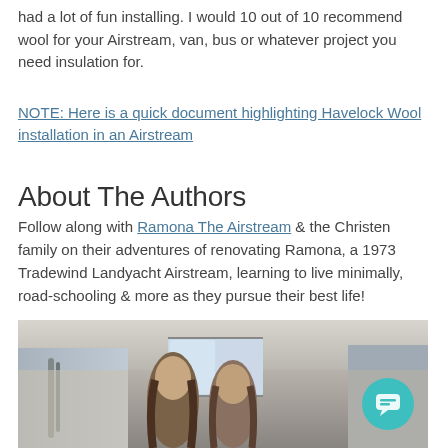had a lot of fun installing. I would 10 out of 10 recommend wool for your Airstream, van, bus or whatever project you need insulation for.
NOTE: Here is a quick document highlighting Havelock Wool installation in an Airstream
About The Authors
Follow along with Ramona The Airstream & the Christen family on their adventures of renovating Ramona, a 1973 Tradewind Landyacht Airstream, learning to live minimally, road-schooling & more as they pursue their best life!
[Figure (photo): Photo of two people (the Christen family) standing inside or in front of a 1973 Tradewind Landyacht Airstream under renovation, with visible insulation and metallic walls. A teal chat bubble icon appears in the bottom right corner.]